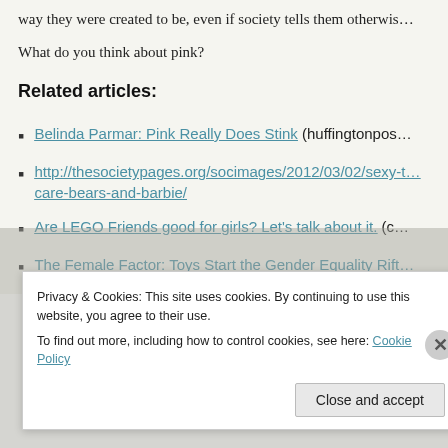way they were created to be, even if society tells them otherwise.
What do you think about pink?
Related articles:
Belinda Parmar: Pink Really Does Stink (huffingtonpos…
http://thesocietypages.org/socimages/2012/03/02/sexy-t… care-bears-and-barbie/
Are LEGO Friends good for girls? Let's talk about it. (c…
The Female Factor: Toys Start the Gender Equality Rift…
Privacy & Cookies: This site uses cookies. By continuing to use this website, you agree to their use.
To find out more, including how to control cookies, see here: Cookie Policy